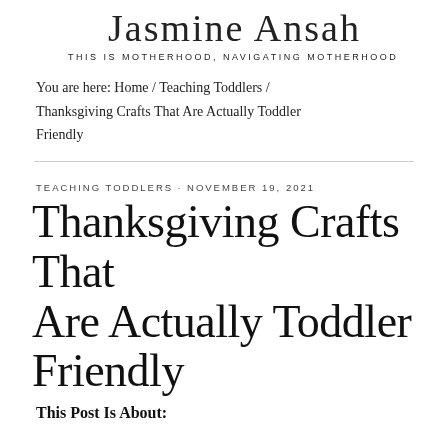Jasmine Ansah
THIS IS MOTHERHOOD, NAVIGATING MOTHERHOOD
You are here: Home / Teaching Toddlers / Thanksgiving Crafts That Are Actually Toddler Friendly
TEACHING TODDLERS · NOVEMBER 19, 2021
Thanksgiving Crafts That Are Actually Toddler Friendly
This Post Is About: